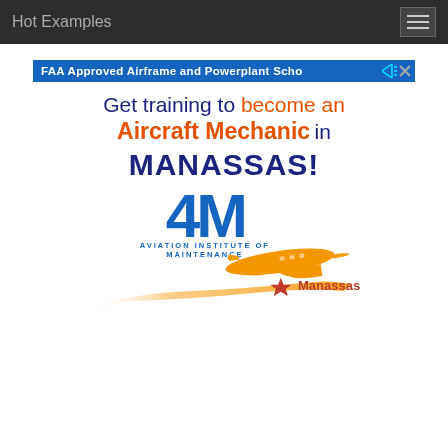Hot Examples
[Figure (illustration): Advertisement banner for Aviation Institute of Maintenance - FAA Approved Airframe and Powerplant School - Get training to become an Aircraft Mechanic in MANASSAS! with AIM logo and airplane graphic with Manassas label]
FAA Approved Airframe and Powerplant School